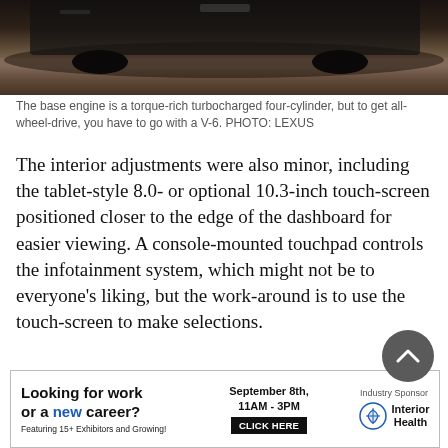[Figure (photo): Rear/underside view of a car (Lexus) in a dark industrial or parking garage setting, with concrete floor visible.]
The base engine is a torque-rich turbocharged four-cylinder, but to get all-wheel-drive, you have to go with a V-6. PHOTO: LEXUS
The interior adjustments were also minor, including the tablet-style 8.0- or optional 10.3-inch touch-screen positioned closer to the edge of the dashboard for easier viewing. A console-mounted touchpad controls the infotainment system, which might not be to everyone's liking, but the work-around is to use the touch-screen to make selections.
The next interior...
[Figure (infographic): Advertisement banner: 'Looking for work or a new career? Featuring 15+ Exhibitors and Growing! September 8th, 11AM-3PM CLICK HERE. Industry Sponsor: Interior Health']